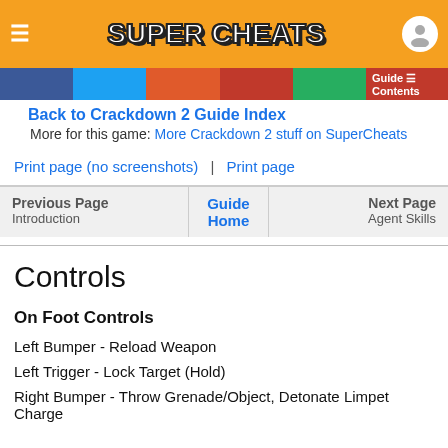SUPER CHEATS
Back to Crackdown 2 Guide Index
More for this game: More Crackdown 2 stuff on SuperCheats
Print page (no screenshots) | Print page
| Previous Page | Guide Home | Next Page |
| --- | --- | --- |
| Introduction |  | Agent Skills |
Controls
On Foot Controls
Left Bumper - Reload Weapon
Left Trigger - Lock Target (Hold)
Right Bumper - Throw Grenade/Object, Detonate Limpet Charge